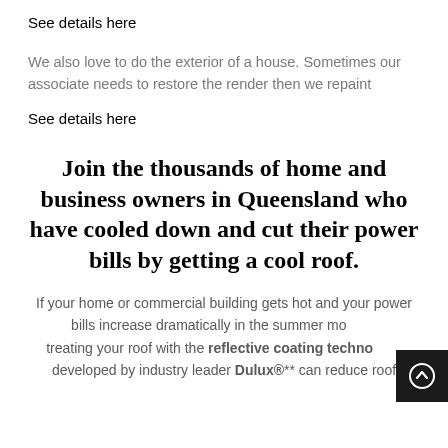See details here
We also love to do the exterior of a house. Sometimes our associate needs to restore the render then we repaint
See details here
Join the thousands of home and business owners in Queensland who have cooled down and cut their power bills by getting a cool roof.
If your home or commercial building gets hot and your power bills increase dramatically in the summer months, treating your roof with the reflective coating technology developed by industry leader Dulux®** can reduce roof